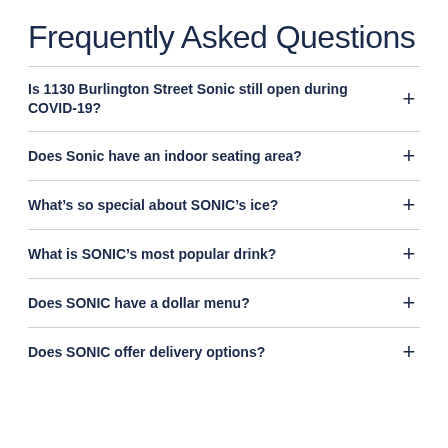Frequently Asked Questions
Is 1130 Burlington Street Sonic still open during COVID-19?
Does Sonic have an indoor seating area?
What’s so special about SONIC’s ice?
What is SONIC’s most popular drink?
Does SONIC have a dollar menu?
Does SONIC offer delivery options?